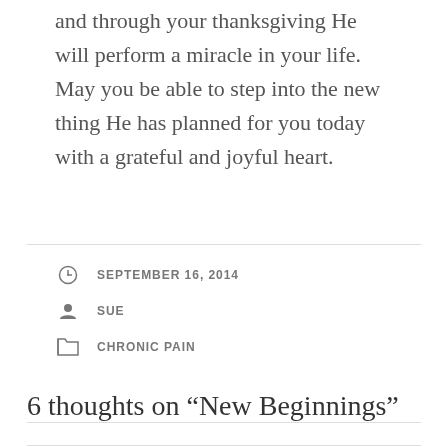and through your thanksgiving He will perform a miracle in your life. May you be able to step into the new thing He has planned for you today with a grateful and joyful heart.
SEPTEMBER 16, 2014
SUE
CHRONIC PAIN
6 thoughts on “New Beginnings”